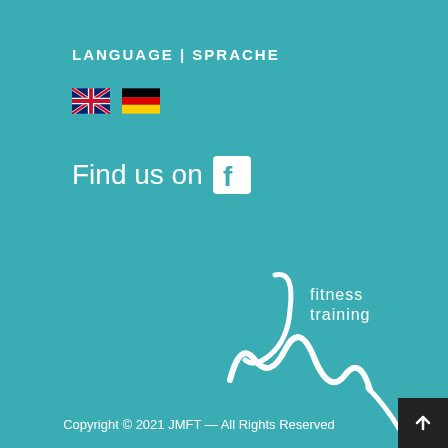LANGUAGE | SPRACHE
[Figure (illustration): UK flag and German flag icons for language selection]
Find us on [Facebook icon]
[Figure (logo): JM Fitness Training logo with cursive JM and text 'fitness training']
Copyright © 2021 JMFT — All Rights Reserved